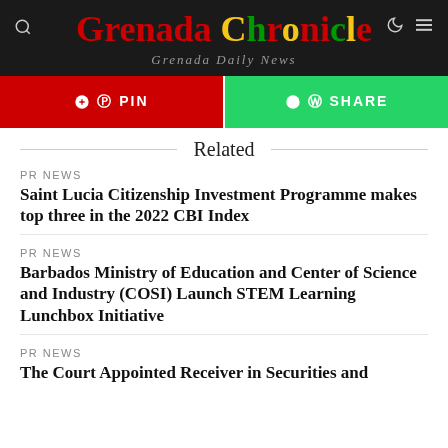Grenada Chronicle — Grenada Daily News
PIN | SHARE
Related
PR NEWS
Saint Lucia Citizenship Investment Programme makes top three in the 2022 CBI Index
PR NEWS
Barbados Ministry of Education and Center of Science and Industry (COSI) Launch STEM Learning Lunchbox Initiative
PR NEWS
The Court Appointed Receiver in Securities and